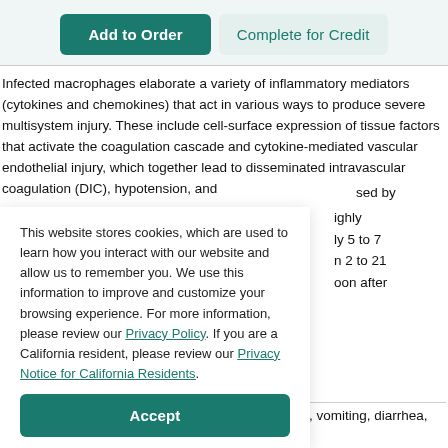[Figure (screenshot): Two buttons: 'Add to Order' (teal, filled) and 'Complete for Credit' (light teal, outline style)]
Infected macrophages elaborate a variety of inflammatory mediators (cytokines and chemokines) that act in various ways to produce severe multisystem injury. These include cell-surface expression of tissue factors that activate the coagulation cascade and cytokine-mediated vascular endothelial injury, which together lead to disseminated intravascular coagulation (DIC), hypotension, and
sed by
This website stores cookies, which are used to learn how you interact with our website and allow us to remember you. We use this information to improve and customize your browsing experience. For more information, please review our Privacy Policy. If you are a California resident, please review our Privacy Notice for California Residents.
ighly
ly 5 to 7
n 2 to 21
oon after
[Figure (screenshot): Accept button (teal, filled, rounded)]
by the rapid onset of weakness, myalgia, headache, vomiting, diarrhea, and